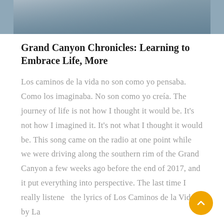[Figure (photo): Partial photo of a person in a blue shirt at what appears to be the Grand Canyon overlook, cropped at the top of the page.]
Grand Canyon Chronicles: Learning to Embrace Life, More
Los caminos de la vida no son como yo pensaba. Como los imaginaba. No son como yo creía. The journey of life is not how I thought it would be. It's not how I imagined it. It's not what I thought it would be. This song came on the radio at one point while we were driving along the southern rim of the Grand Canyon a few weeks ago before the end of 2017, and it put everything into perspective. The last time I really listened the lyrics of Los Caminos de la Vida by La